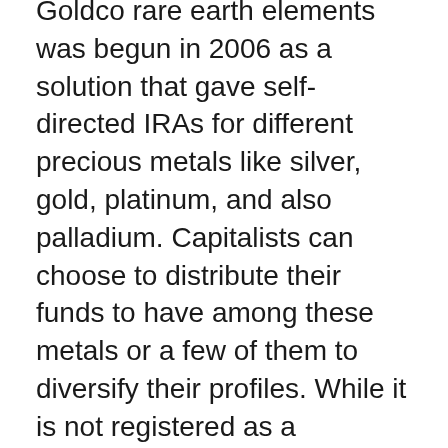Goldco rare earth elements was begun in 2006 as a solution that gave self-directed IRAs for different precious metals like silver, gold, platinum, and also palladium. Capitalists can choose to distribute their funds to have among these metals or a few of them to diversify their profiles. While it is not registered as a custodian company, the firm functions carefully with individual retirement account custodians to supply seamless solutions.
Gold Etf Ira
Goldco has become significantly prominent in current days due to expected taxation imminent as capitalists seek tax-friendly means to protect their wide range. More